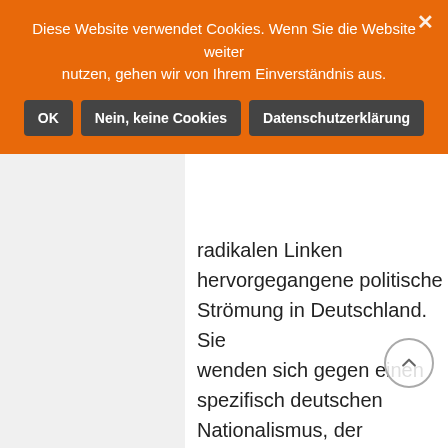[Figure (screenshot): Cookie consent banner overlay (orange background) on a German website. Banner text: 'Diese Website verwendet Cookies. Wenn Sie die Website weiter nutzen, gehen wir von Ihrem Einverständnis aus.' with three buttons: OK, Nein, keine Cookies, Datenschutzerklärung. Behind the banner, partially visible German text about 'Antideutsche' political movement.]
ntideutsche. Der Eintrag beginnt wie folgt: 'Antideutsche sind eine aus radikalen Linken hervorgegangene politische Strömung in Deutschland. Sie wenden sich gegen einen spezifisch deutschen Nationalismus, der insbesondere im Zuge der deutschen Wiedervereinigung erstarkt sei. Weitere antideutsche Positionen sind Solidarität mit Israel sowie Gegnerschaft zu Antizionismus, Antiamerikanismus,'